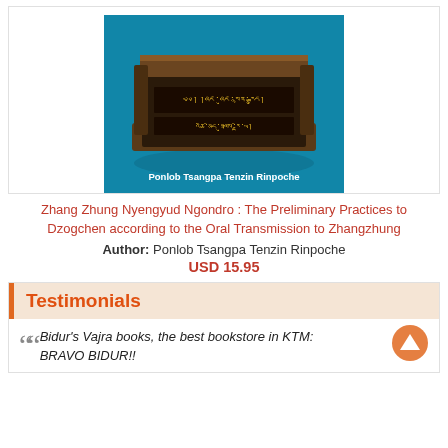[Figure (photo): Book cover image for 'Zhang Zhung Nyengyud Ngondro' showing an ancient Tibetan text/manuscript against a teal/blue background, with the author name 'Ponlob Tsangpa Tenzin Rinpoche' in white text at the bottom.]
Zhang Zhung Nyengyud Ngondro : The Preliminary Practices to Dzogchen according to the Oral Transmission to Zhangzhung
Author: Ponlob Tsangpa Tenzin Rinpoche
USD 15.95
Testimonials
Bidur's Vajra books, the best bookstore in KTM: BRAVO BIDUR!!